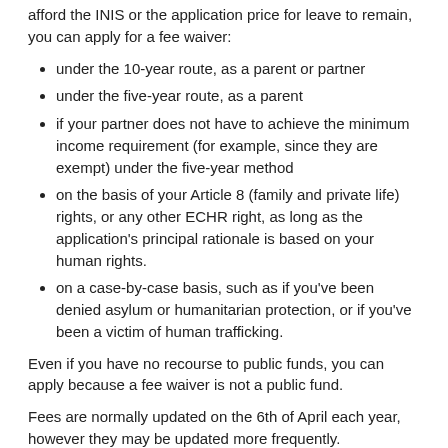afford the INIS or the application price for leave to remain, you can apply for a fee waiver:
under the 10-year route, as a parent or partner
under the five-year route, as a parent
if your partner does not have to achieve the minimum income requirement (for example, since they are exempt) under the five-year method
on the basis of your Article 8 (family and private life) rights, or any other ECHR right, as long as the application's principal rationale is based on your human rights.
on a case-by-case basis, such as if you've been denied asylum or humanitarian protection, or if you've been a victim of human trafficking.
Even if you have no recourse to public funds, you can apply because a fee waiver is not a public fund.
Fees are normally updated on the 6th of April each year, however they may be updated more frequently. https://www.gov.uk/government/publications/visa-regulations-revised-table